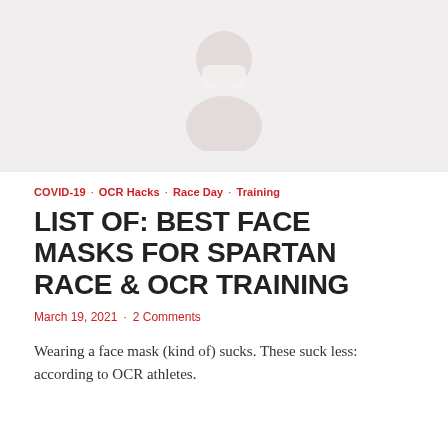[Figure (illustration): Light gray background with a faint red and white face mask / person wearing mask icon centered in the image]
COVID-19 · OCR Hacks · Race Day · Training
LIST OF: BEST FACE MASKS FOR SPARTAN RACE & OCR TRAINING
March 19, 2021 · 2 Comments
Wearing a face mask (kind of) sucks. These suck less: according to OCR athletes.